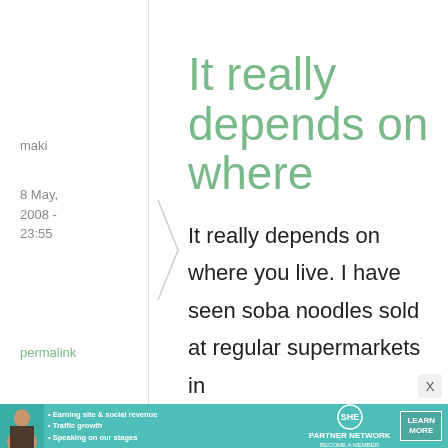maki
8 May, 2008 - 23:55
permalink
It really depends on where
It really depends on where you live. I have seen soba noodles sold at regular supermarkets in
[Figure (infographic): Advertisement banner for SHE Partner Network featuring a woman photo, bullet points about earning site & social revenue, traffic growth, speaking on stages, SHE logo, and a Learn More button]